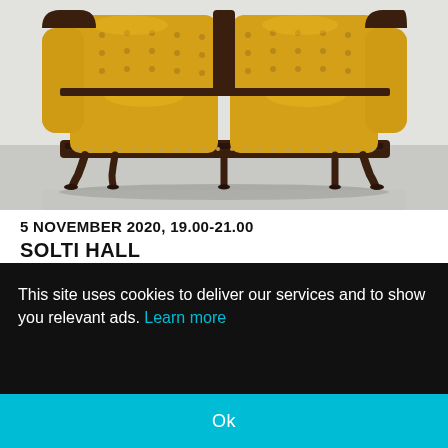[Figure (photo): Yellow tufted vintage sofa with dark ornate wooden frame on a light gray concrete floor against a white wall. The sofa is split into two sections with high backs.]
5 NOVEMBER 2020, 19.00-21.00
SOLTI HALL
This site uses cookies to deliver our services and to show you relevant ads. Learn more
Ok